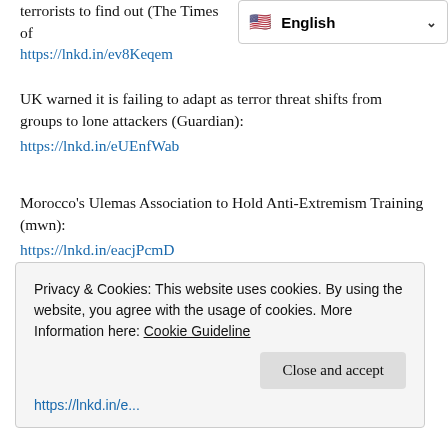terrorists to find out (The Times of ...
https://lnkd.in/ev8Keqem
UK warned it is failing to adapt as terror threat shifts from groups to lone attackers (Guardian):
https://lnkd.in/eUEnfWab
Morocco's Ulemas Association to Hold Anti-Extremism Training (mwn):
https://lnkd.in/eacjPcmD
Masculinities and Violent Extremism (IPI International Peace Institute):
https://lnkd.in/e4sBMHCY
Preventing and Countering Violent Extremism in Nigeria: The
Privacy & Cookies: This website uses cookies. By using the website, you agree with the usage of cookies. More Information here: Cookie Guideline
Close and accept
https://lnkd.in/e...